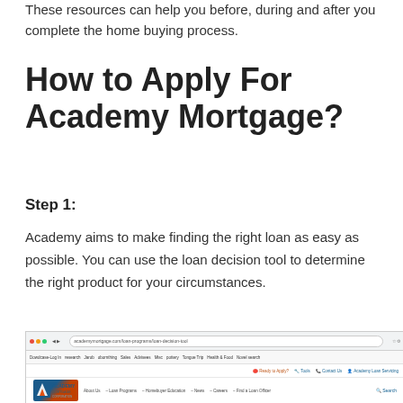These resources can help you before, during and after you complete the home buying process.
How to Apply For Academy Mortgage?
Step 1:
Academy aims to make finding the right loan as easy as possible. You can use the loan decision tool to determine the right product for your circumstances.
[Figure (screenshot): Screenshot of Academy Mortgage website showing the loan decision tool page with navigation bar, Academy Mortgage logo, and loan program icons including options for low down payment, large loan amounts, military/veteran, living outside city, and home repairs/renovations.]